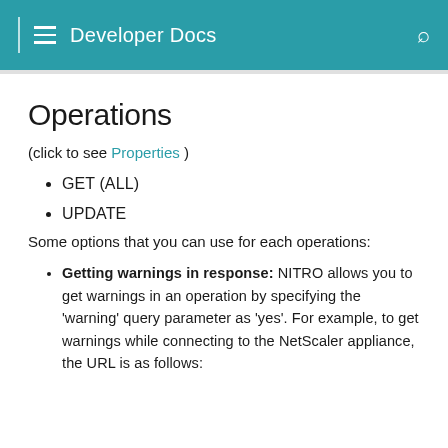Developer Docs
Operations
(click to see Properties )
GET (ALL)
UPDATE
Some options that you can use for each operations:
Getting warnings in response: NITRO allows you to get warnings in an operation by specifying the 'warning' query parameter as 'yes'. For example, to get warnings while connecting to the NetScaler appliance, the URL is as follows: